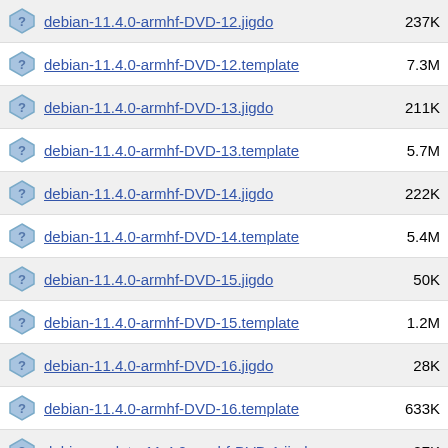debian-11.4.0-armhf-DVD-12.jigdo  237K
debian-11.4.0-armhf-DVD-12.template  7.3M
debian-11.4.0-armhf-DVD-13.jigdo  211K
debian-11.4.0-armhf-DVD-13.template  5.7M
debian-11.4.0-armhf-DVD-14.jigdo  222K
debian-11.4.0-armhf-DVD-14.template  5.4M
debian-11.4.0-armhf-DVD-15.jigdo  50K
debian-11.4.0-armhf-DVD-15.template  1.2M
debian-11.4.0-armhf-DVD-16.jigdo  28K
debian-11.4.0-armhf-DVD-16.template  633K
debian-update-11.4.0-armhf-DVD-1.jigdo  27K
debian-update-11.4.0-armhf-DVD-1.template  521K
debian-update-11.4.0-armhf-DVD-2.jigdo  37K
debian-update-11.4.0-armhf-DVD-2.template  868K